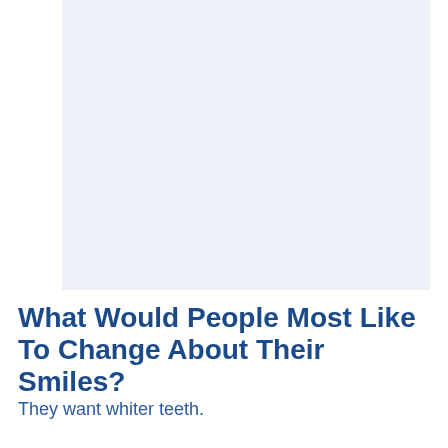[Figure (photo): Large light blue-grey rectangular image area occupying the upper portion of the page]
What Would People Most Like To Change About Their Smiles?
They want whiter teeth.